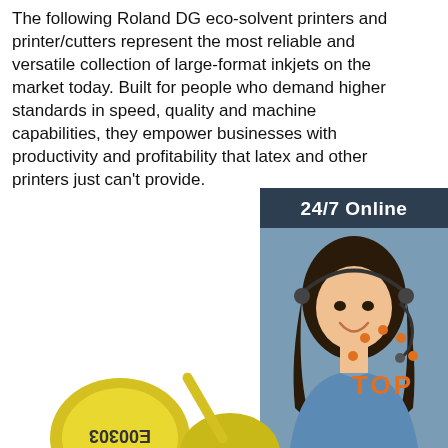The following Roland DG eco-solvent printers and printer/cutters represent the most reliable and versatile collection of large-format inkjets on the market today. Built for people who demand higher standards in speed, quality and machine capabilities, they empower businesses with productivity and profitability that latex and other printers just can't provide.
Get Price
[Figure (infographic): Sidebar widget with dark blue/gray background showing '24/7 Online' header, photo of a smiling woman with headset/microphone, 'Click here for free chat!' text, and an orange QUOTATION button.]
[Figure (infographic): Orange dots arc above 'TOP' text in orange, forming a 'back to top' badge in the bottom right.]
[Figure (photo): Bottom portion showing yellow circular ear tags with text, partially cropped.]